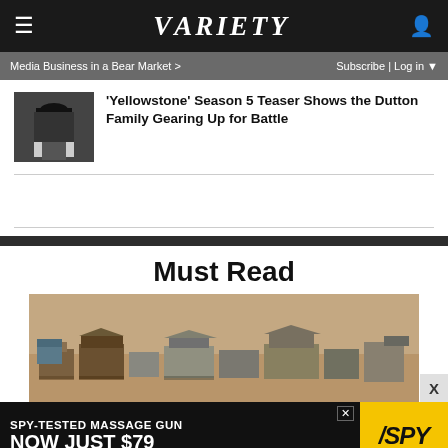Variety
Media Business in a Bear Market >
Subscribe | Log in
'Yellowstone' Season 5 Teaser Shows the Dutton Family Gearing Up for Battle
Must Read
[Figure (photo): Aerial view of a western film set with dusty buildings and structures]
[Figure (advertisement): SPY-TESTED MASSAGE GUN NOW JUST $79 advertisement with SPY logo on yellow background]